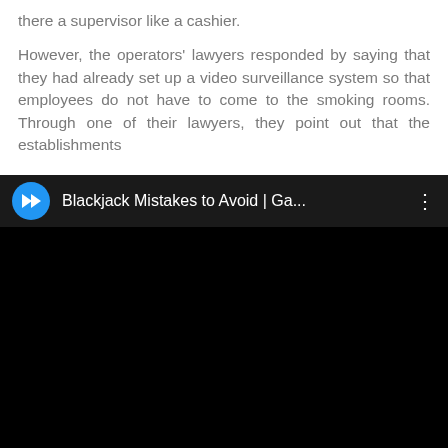there a supervisor like a cashier.

However, the operators' lawyers responded by saying that they had already set up a video surveillance system so that employees do not have to come to the smoking rooms. Through one of their lawyers, they point out that the establishments
[Figure (screenshot): Embedded video player with black background showing title 'Blackjack Mistakes to Avoid | Ga...' with a blue circular logo icon on the left and a three-dot menu icon on the right.]